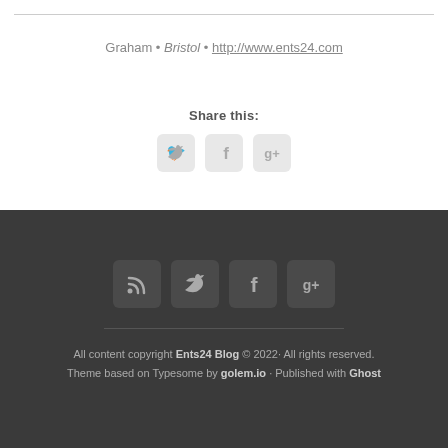Graham • Bristol • http://www.ents24.com
Share this:
[Figure (infographic): Three social media icon buttons: Twitter, Facebook, Google+]
[Figure (infographic): Four dark social media icon buttons in footer: RSS, Twitter, Facebook, Google+]
All content copyright Ents24 Blog © 2022· All rights reserved. Theme based on Typesome by golem.io · Published with Ghost